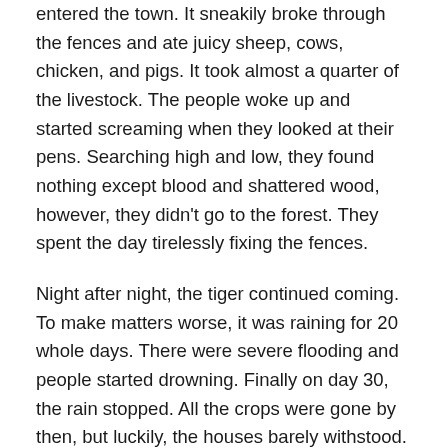entered the town. It sneakily broke through the fences and ate juicy sheep, cows, chicken, and pigs. It took almost a quarter of the livestock. The people woke up and started screaming when they looked at their pens. Searching high and low, they found nothing except blood and shattered wood, however, they didn't go to the forest. They spent the day tirelessly fixing the fences.
Night after night, the tiger continued coming. To make matters worse, it was raining for 20 whole days. There were severe flooding and people started drowning. Finally on day 30, the rain stopped. All the crops were gone by then, but luckily, the houses barely withstood. People were starving so much, that they even started picking up crumbs of bread from the floor every day. People were starving.